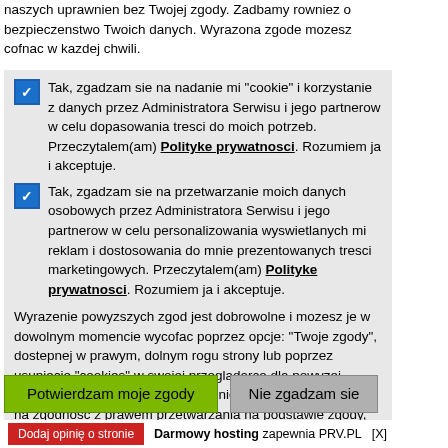Pamietaj, ze dbamy o Twoja prywatnosc. Nie zmieniamy zakresu naszych uprawnien bez Twojej zgody. Zadbamy rowniez o bezpieczenstwo Twoich danych. Wyrazona zgode mozesz cofnac w kazdej chwili.
Tak, zgadzam sie na nadanie mi "cookie" i korzystanie z danych przez Administratora Serwisu i jego partnerow w celu dopasowania tresci do moich potrzeb. Przeczytalem(am) Polityke prywatnosci. Rozumiem ja i akceptuje.
Tak, zgadzam sie na przetwarzanie moich danych osobowych przez Administratora Serwisu i jego partnerow w celu personalizowania wyswietlanych mi reklam i dostosowania do mnie prezentowanych tresci marketingowych. Przeczytalem(am) Polityke prywatnosci. Rozumiem ja i akceptuje.
Wyrazenie powyzszych zgod jest dobrowolne i mozesz je w dowolnym momencie wycofac poprzez opcje: "Twoje zgody", dostepnej w prawym, dolnym rogu strony lub poprzez usuniecie "cookies" w swojej przegladarce dla powyzej strony, z tym, ze wycofanie zgody nie bedzie mialo wplywu na zgodnosc z prawem przetwarzania na podstawie zgody, przed jej wycofaniem.
Potwierdzam moje zgody | Nie zgadzam sie
Dodaj opinię o stronie   Darmowy hosting zapewnia PRV.PL   [X]